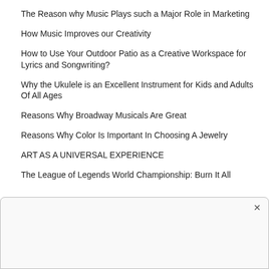The Reason why Music Plays such a Major Role in Marketing
How Music Improves our Creativity
How to Use Your Outdoor Patio as a Creative Workspace for Lyrics and Songwriting?
Why the Ukulele is an Excellent Instrument for Kids and Adults Of All Ages
Reasons Why Broadway Musicals Are Great
Reasons Why Color Is Important In Choosing A Jewelry
ART AS A UNIVERSAL EXPERIENCE
The League of Legends World Championship: Burn It All
[Figure (other): Dialog/modal box with close button (X) in upper right corner, empty content area]